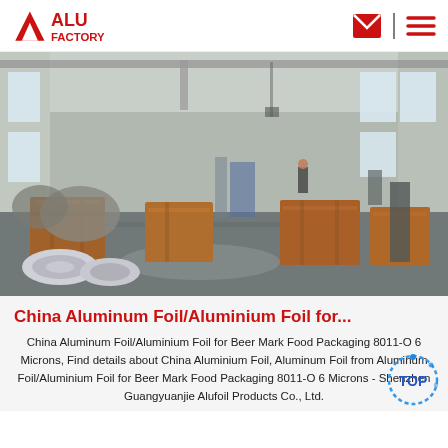[Figure (logo): ALU FACTORY logo in red with a triangular arrow icon on the left, red text ALU FACTORY, and navigation icons (envelope and hamburger menu) on the right]
[Figure (photo): Interior of a large industrial factory warehouse showing wooden crates, metal rolls of aluminum foil, machinery, and workers in the background under overhead cranes with natural light from windows]
China Aluminum Foil/Aluminium Foil for...
China Aluminum Foil/Aluminium Foil for Beer Mark Food Packaging 8011-O 6 Microns, Find details about China Aluminium Foil, Aluminum Foil from Aluminum Foil/Aluminium Foil for Beer Mark Food Packaging 8011-O 6 Microns - Shenzhen Guangyuanjie Alufoil Products Co., Ltd.